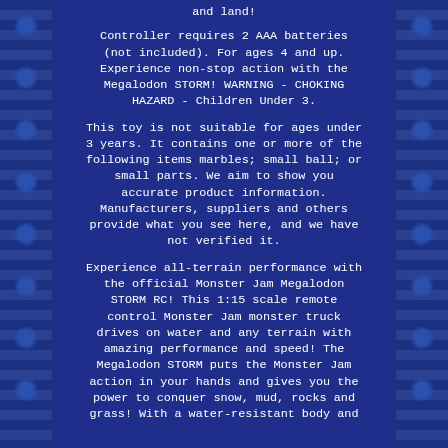and land!
Controller requires 2 AAA batteries (not included). For ages 4 and up. Experience non-stop action with the Megalodon STORM! WARNING - CHOKING HAZARD - Children Under 3.
This toy is not suitable for ages under 3 years. It contains one or more of the following items marbles; small ball; or small parts. We aim to show you accurate product information. Manufacturers, suppliers and others provide what you see here, and we have not verified it.
Experience all-terrain performance with the official Monster Jam Megalodon STORM RC! This 1:15 scale remote control Monster Jam monster truck drives on water and any terrain with amazing performance and speed! The Megalodon STORM puts the Monster Jam action in your hands and gives you the power to conquer snow, mud, rocks and grass! With a water-resistant body and